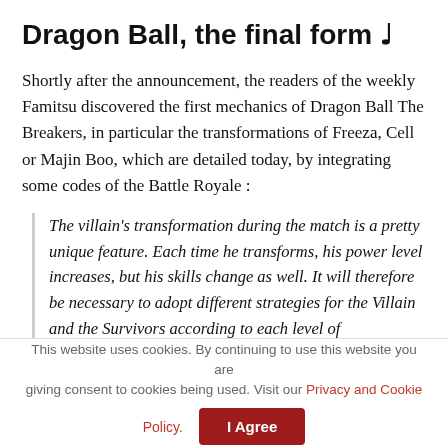Dragon Ball, the final form ♩
Shortly after the announcement, the readers of the weekly Famitsu discovered the first mechanics of Dragon Ball The Breakers, in particular the transformations of Freeza, Cell or Majin Boo, which are detailed today, by integrating some codes of the Battle Royale :
The villain's transformation during the match is a pretty unique feature. Each time he transforms, his power level increases, but his skills change as well. It will therefore be necessary to adopt different strategies for the Villain and the Survivors according to each level of transformation. Additionally, each time the Villain transforms into his next form, he will have the privilege of destroying an area, and the Survivors will find
This website uses cookies. By continuing to use this website you are giving consent to cookies being used. Visit our Privacy and Cookie Policy. I Agree